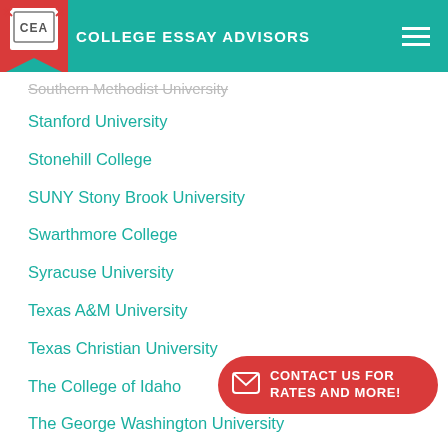COLLEGE ESSAY ADVISORS
Southern Methodist University
Stanford University
Stonehill College
SUNY Stony Brook University
Swarthmore College
Syracuse University
Texas A&M University
Texas Christian University
The College of Idaho
The George Washington University
The New School
Trinity College
Tufts University
CONTACT US FOR RATES AND MORE!